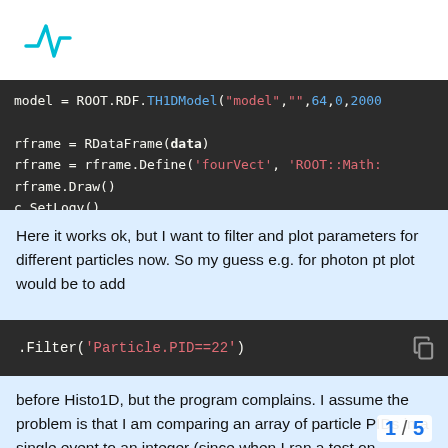[Figure (logo): Root math/science logo: teal square root symbol]
model = ROOT.RDF.TH1DModel("model","",64,0,2000
rframe = RDataFrame(data)
rframe = rframe.Define('fourVect', 'ROOT::Math:
rframe.Draw()
c.SetLogy()
c.Draw()
Here it works ok, but I want to filter and plot parameters for different particles now. So my guess e.g. for photon pt plot would be to add
.Filter('Particle.PID==22')
before Histo1D, but the program complains. I assume the problem is that I am comparing an array of particle PIDs in a single event to an integer (since when I ran a test on Particle_size - which is integer in this tree - question is how to extract desired particles
1 / 5